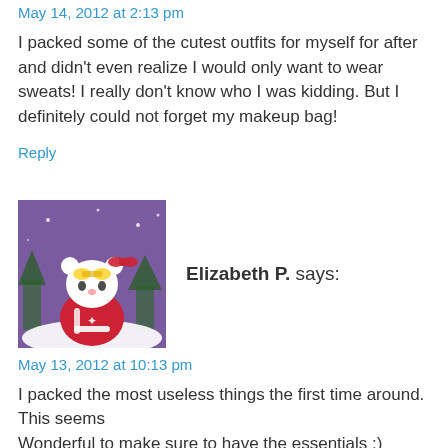May 14, 2012 at 2:13 pm
I packed some of the cutest outfits for myself for after and didn't even realize I would only want to wear sweats! I really don't know who I was kidding. But I definitely could not forget my makeup bag!
Reply
[Figure (illustration): Avatar image of a cartoon character (Hello Kitty-style) wearing winter clothes against a purple night sky background]
Elizabeth P. says:
May 13, 2012 at 10:13 pm
I packed the most useless things the first time around. This seems
Wonderful to make sure to have the essentials :)
Reply